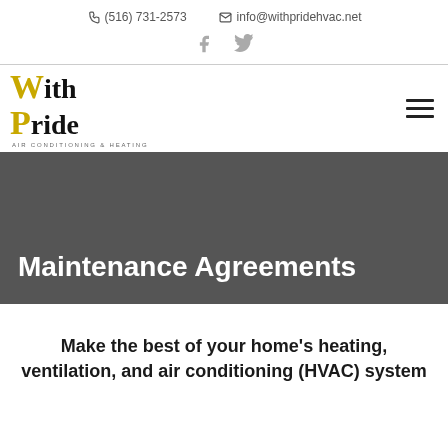(516) 731-2573   info@withpridehvac.net
[Figure (logo): With Pride Air Conditioning & Heating logo with stylized W and P letters]
Maintenance Agreements
Make the best of your home's heating, ventilation, and air conditioning (HVAC) system